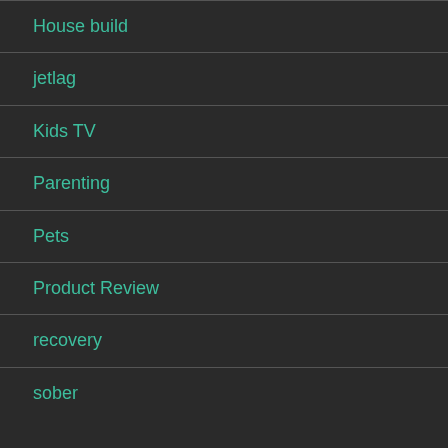House build
jetlag
Kids TV
Parenting
Pets
Product Review
recovery
sober